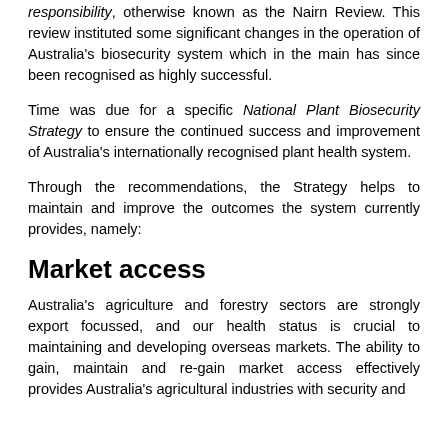responsibility, otherwise known as the Nairn Review. This review instituted some significant changes in the operation of Australia's biosecurity system which in the main has since been recognised as highly successful.
Time was due for a specific National Plant Biosecurity Strategy to ensure the continued success and improvement of Australia's internationally recognised plant health system.
Through the recommendations, the Strategy helps to maintain and improve the outcomes the system currently provides, namely:
Market access
Australia's agriculture and forestry sectors are strongly export focussed, and our health status is crucial to maintaining and developing overseas markets. The ability to gain, maintain and re-gain market access effectively provides Australia's agricultural industries with security and